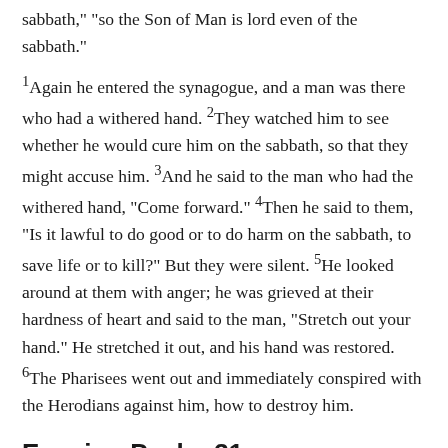sabbath,” “so the Son of Man is lord even of the sabbath.”
1Again he entered the synagogue, and a man was there who had a withered hand. 2They watched him to see whether he would cure him on the sabbath, so that they might accuse him. 3And he said to the man who had the withered hand, “Come forward.” 4Then he said to them, “Is it lawful to do good or to do harm on the sabbath, to save life or to kill?” But they were silent. 5He looked around at them with anger; he was grieved at their hardness of heart and said to the man, “Stretch out your hand.” He stretched it out, and his hand was restored. 6The Pharisees went out and immediately conspired with the Herodians against him, how to destroy him.
Evening Psalm 31
1  In you, O LORD, I seek refuge;
      do not let me ever be put to shame;
      in your righteousness deliver me.